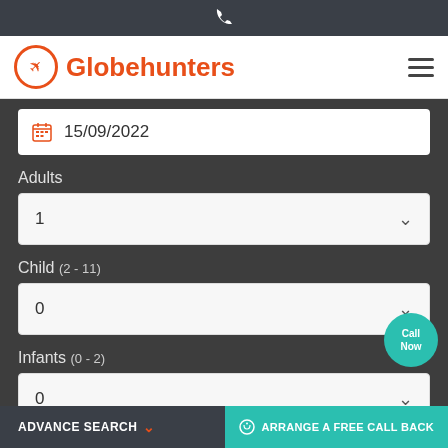☎
[Figure (logo): Globehunters logo with airplane icon in orange circle and orange text]
15/09/2022
Adults
1
Child (2 - 11)
0
Infants (0 - 2)
0
ADVANCE SEARCH
ARRANGE A FREE CALL BACK
Call Now